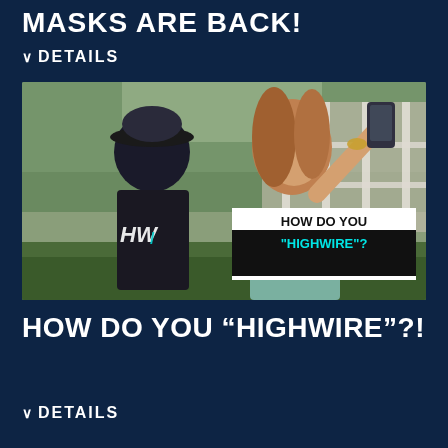MASKS ARE BACK!
∨  DETAILS
[Figure (photo): Two women taking a selfie outdoors near a white fence. One wears a black trucker hat with HW logo and a vintage t-shirt; the other holds a phone up for a selfie and wears a teal shirt. Text overlay reads: HOW DO YOU "HIGHWIRE"?]
HOW DO YOU "HIGHWIRE"?!
∨  DETAILS